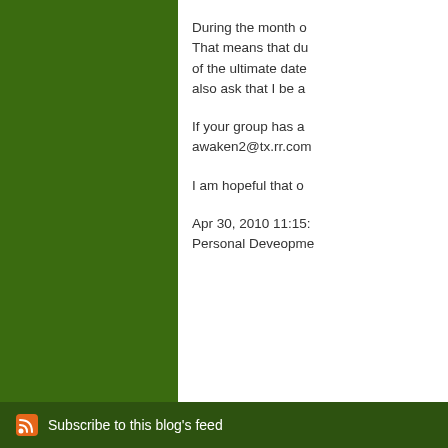During the month o... That means that du... of the ultimate date... also ask that I be a...
If your group has a... awaken2@tx.rr.com...
I am hopeful that o...
Apr 30, 2010 11:15:... Personal Deveopme...
Com...
Subscribe to this blog's feed